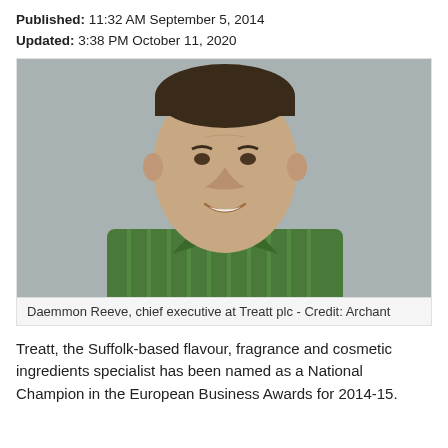Published: 11:32 AM September 5, 2014
Updated: 3:38 PM October 11, 2020
[Figure (photo): Headshot of Daemmon Reeve, chief executive at Treatt plc, wearing a green striped shirt, smiling, against a grey background.]
Daemmon Reeve, chief executive at Treatt plc - Credit: Archant
Treatt, the Suffolk-based flavour, fragrance and cosmetic ingredients specialist has been named as a National Champion in the European Business Awards for 2014-15.